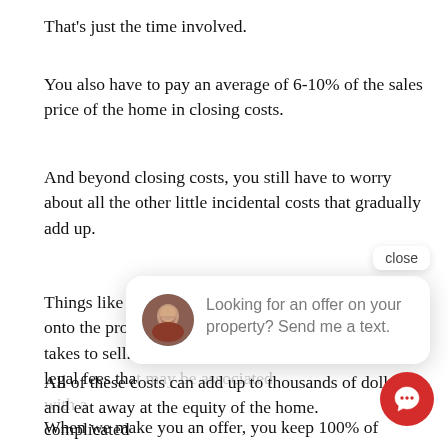That's just the time involved.
You also have to pay an average of 6-10% of the sales price of the home in closing costs.
And beyond closing costs, you still have to worry about all the other little incidental costs that gradually add up.
Things like the cost of holding onto the property for the time it takes to sell. Or the legal fees that may be associated with a complicated [estate sale]. [utilities that] [before they]
[Figure (screenshot): Chat widget overlay with close button, avatar photo of a woman, and text: 'Looking for an offer on your property? Send me a text.' A red circular chat button is visible at bottom right.]
All of these costs can add up to thousands o[f] dollars and eat away at the equity of the ho[me].
When we make you an offer, you keep 100% of